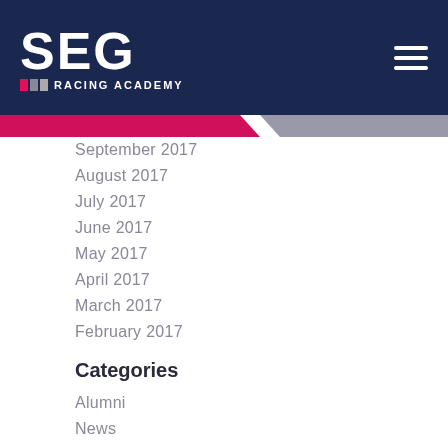SEG Racing Academy
September 2017
August 2017
July 2017
June 2017
May 2017
April 2017
March 2017
February 2017
Categories
Alumni
News
Partners
Product Development
Riders